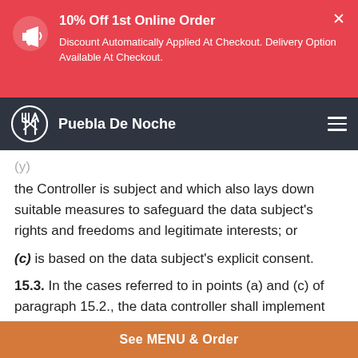10% Off 1st Online Order
Discount Automatically Applied At Checkout. Delivery Option Available At Checkout.
Puebla De Noche
the Controller is subject and which also lays down suitable measures to safeguard the data subject's rights and freedoms and legitimate interests; or
(c) is based on the data subject's explicit consent.
15.3. In the cases referred to in points (a) and (c) of paragraph 15.2., the data controller shall implement suitable measures to safeguard the data subject's rights and
See MENU & Order